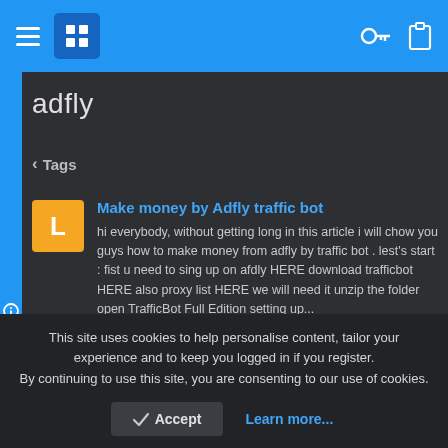adfly — navigation bar with hamburger menu, logo, key icon, clipboard icon
adfly
< Tags
Make money by Adfly traffic bot
hi everybody, without getting long in this article i will chow you guys how to make money from adfly by traffic bot . lest's start : fist u need to sing up on afdly HERE download trafficbot HERE also proxy list HERE we will need it unzip the folder open TrafficBot Full Edition setting up...
LAMboOl · Thread · May 20, 2022 · adfly hot cash
This site uses cookies to help personalise content, tailor your experience and to keep you logged in if you register. By continuing to use this site, you are consenting to our use of cookies.